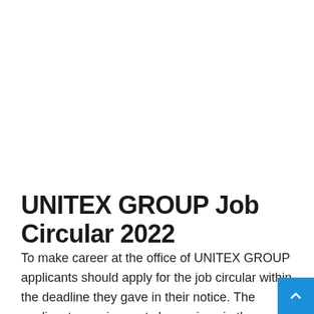UNITEX GROUP Job Circular 2022
To make career at the office of UNITEX GROUP applicants should apply for the job circular within the deadline they gave in their notice. The applicants requirements have given in the circular here. Read the job recruitment notice very carefully apply for the job. To find every UNITEX GROUP job circular stay connected with our Facebook page and keep visiting our